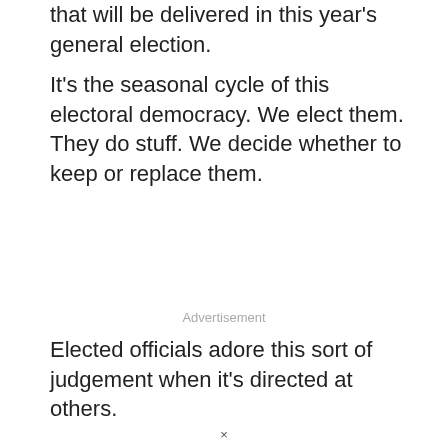that will be delivered in this year's general election.
It's the seasonal cycle of this electoral democracy. We elect them. They do stuff. We decide whether to keep or replace them.
Advertisement
Elected officials adore this sort of judgement when it's directed at others.
×